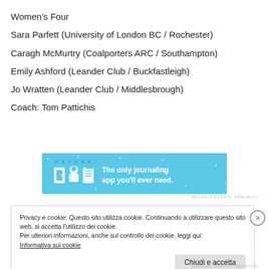Women's Four
Sara Parfett (University of London BC / Rochester)
Caragh McMurtry (Coalporters ARC / Southampton)
Emily Ashford (Leander Club / Buckfastleigh)
Jo Wratten (Leander Club / Middlesbrough)
Coach: Tom Pattichis
[Figure (other): DAY ONE app advertisement banner — blue background with icons of a door, person, and notepad, text: 'DAY ONE — The only journaling app you'll ever need.']
Privacy e cookie: Questo sito utilizza cookie. Continuando a utilizzare questo sito web, si accetta l'utilizzo dei cookie.
Per ulteriori informazioni, anche sul controllo dei cookie, leggi qui:
Informativa sui cookie
Chiudi e accetta